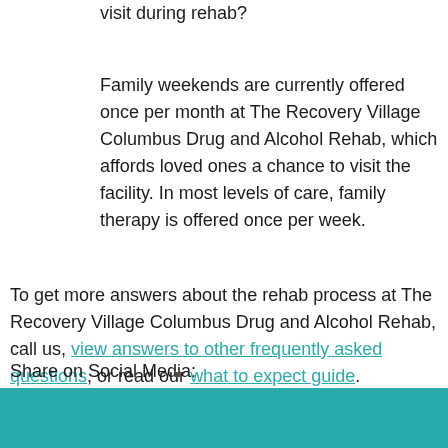visit during rehab?
Family weekends are currently offered once per month at The Recovery Village Columbus Drug and Alcohol Rehab, which affords loved ones a chance to visit the facility. In most levels of care, family therapy is offered once per week.
To get more answers about the rehab process at The Recovery Village Columbus Drug and Alcohol Rehab, call us, view answers to other frequently asked questions, or read our what to expect guide.
Share on Social Media:
FacebookTwitterLinkedIn
[Figure (other): Teal/turquoise colored footer bar at the bottom of the page]